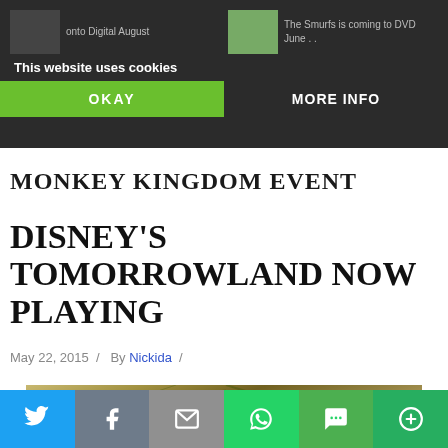MONKEY KINGDOM EVENT
This website uses cookies
OKAY / MORE INFO
DISNEY'S TOMORROWLAND NOW PLAYING
May 22, 2015 / By Nickida /
[Figure (photo): Close-up photo of dry wheat or grass stalks, golden brown in color]
[Figure (infographic): Social share bar with Twitter, Facebook, Email, WhatsApp, SMS, and More buttons]